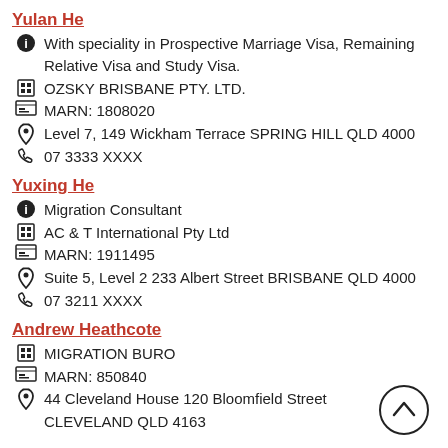Yulan He
With speciality in Prospective Marriage Visa, Remaining Relative Visa and Study Visa.
OZSKY BRISBANE PTY. LTD.
MARN: 1808020
Level 7, 149 Wickham Terrace SPRING HILL QLD 4000
07 3333 XXXX
Yuxing He
Migration Consultant
AC & T International Pty Ltd
MARN: 1911495
Suite 5, Level 2 233 Albert Street BRISBANE QLD 4000
07 3211 XXXX
Andrew Heathcote
MIGRATION BURO
MARN: 850840
44 Cleveland House 120 Bloomfield Street
CLEVELAND QLD 4163